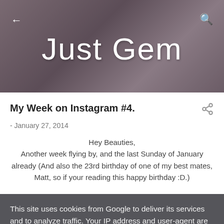Just Gem
My Week on Instagram #4.
- January 27, 2014
Hey Beauties,
Another week flying by, and the last Sunday of January already (And also the 23rd birthday of one of my best mates, Matt, so if your reading this happy birthday :D.)
This site uses cookies from Google to deliver its services and to analyze traffic. Your IP address and user-agent are shared with Google along with performance and security metrics to ensure quality of service, generate usage statistics, and to detect and address abuse.
LEARN MORE   OK